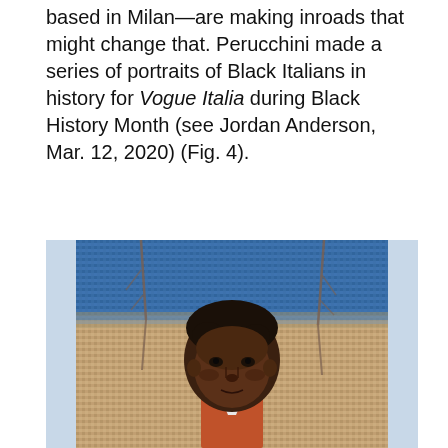based in Milan—are making inroads that might change that. Perucchini made a series of portraits of Black Italians in history for Vogue Italia during Black History Month (see Jordan Anderson, Mar. 12, 2020) (Fig. 4).
[Figure (illustration): A painted portrait of a Black man with short dark hair, wearing a red top with a white collar, set against a blue and sandy speckled mosaic-like background with two bare tree-like branches on either side.]